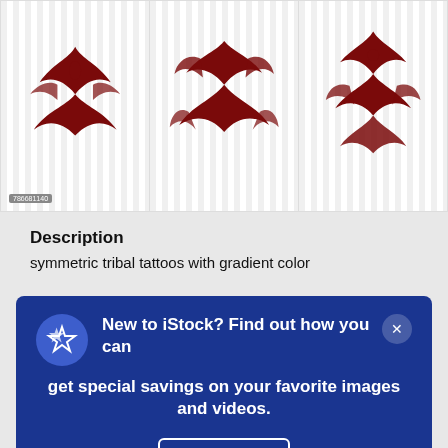[Figure (illustration): Three tribal tattoo designs with dark red/maroon gradient color on striped white backgrounds, shown side by side in a horizontal strip]
Description
symmetric tribal tattoos with gradient color
New to iStock? Find out how you can get special savings on your favorite images and videos. See details
$33 | 3 credits
Continue with purchase